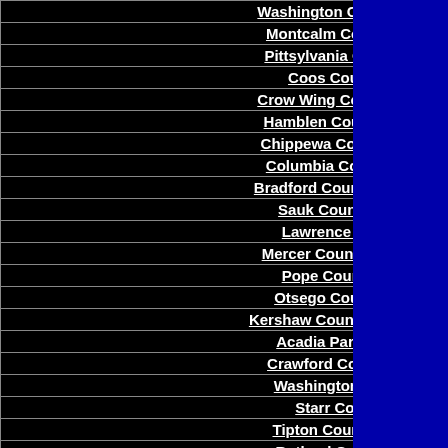Washington County, New York
Montcalm County, Michigan
Pittsylvania County, Virginia
Coos County, Oregon
Crow Wing County, Minnesota
Hamblen County, Tennessee
Chippewa County, Wisconsin
Columbia County, New York
Bradford County, Pennsylvania
Sauk County, Wisconsin
Lawrence County, Ohio
Mercer County, West Virginia
Pope County, Arkansas
Otsego County, New York
Kershaw County, South Carolina
Acadia Parish, Louisiana
Crawford County, Arkansas
Washington County, Ohio
Starr County, Texas
Tipton County, Tennessee
Rutland County, Vermont
Franklin County, North Carolina
St. Joseph County, Michigan